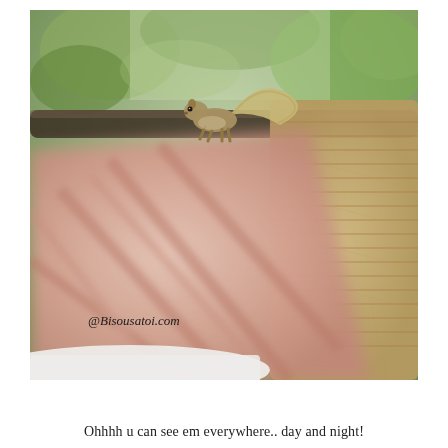[Figure (photo): A squirrel perched on the back of a wicker/rattan outdoor chair, with a blurred pink cushion in the foreground. Green foliage in background. Watermark '@Bisousatoi.com' in cursive script at lower left of photo.]
Ohhhh u can see em everywhere.. day and night!